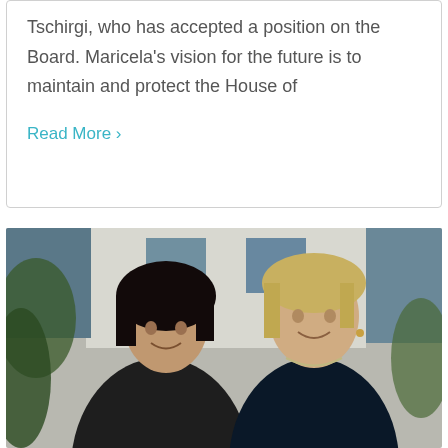Tschirgi, who has accepted a position on the Board. Maricela's vision for the future is to maintain and protect the House of
Read More ›
[Figure (photo): Two women smiling together outdoors in front of a house. The woman on the left has dark hair and is wearing a dark jacket. The woman on the right has blonde hair and is wearing a dark navy top with a necklace.]